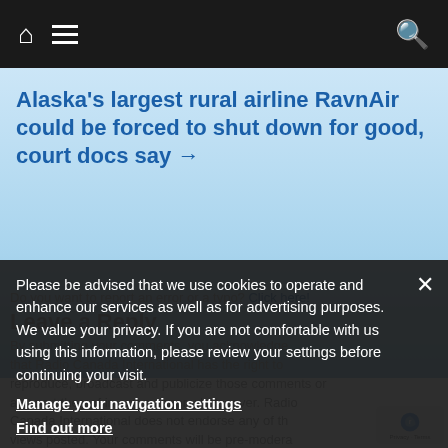Navigation bar with home icon, hamburger menu, and search icon
Alaska's largest rural airline RavnAir could be forced to shut down for good, court docs say →
Do you want to report an error or a typo? Click here!
Leave a Reply
By submitting your comments, you acknowledge that Radio Canada International has the right to reproduce, broadcast and publicize those comments or any part thereof in any manner whatsoever. Radio Canada International does not endorse any of the views posted. Your comments will be pre-moderated and published if they meet netiquette guidelines.
Please be advised that we use cookies to operate and enhance our services as well as for advertising purposes. We value your privacy. If you are not comfortable with us using this information, please review your settings before continuing your visit.
Manage your navigation settings
Find out more